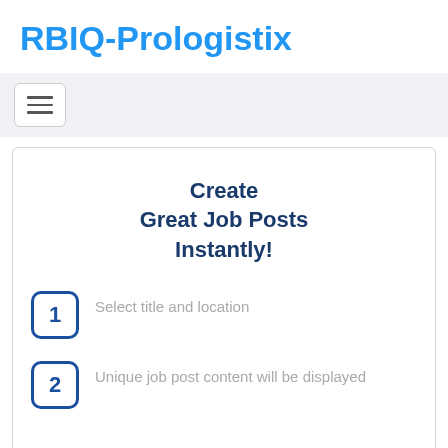RBIQ-Prologistix
[Figure (screenshot): Navigation bar with hamburger menu button (three horizontal lines icon) on a light gray background]
Create Great Job Posts Instantly!
1 Select title and location
2 Unique job post content will be displayed